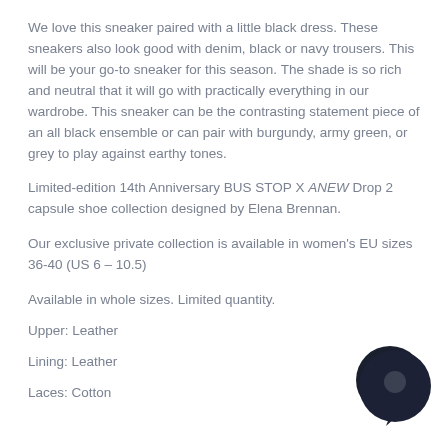We love this sneaker paired with a little black dress. These sneakers also look good with denim, black or navy trousers. This will be your go-to sneaker for this season. The shade is so rich and neutral that it will go with practically everything in our wardrobe. This sneaker can be the contrasting statement piece of an all black ensemble or can pair with burgundy, army green, or grey to play against earthy tones.
Limited-edition 14th Anniversary BUS STOP X ANEW Drop 2 capsule shoe collection designed by Elena Brennan.
Our exclusive private collection is available in women's EU sizes 36-40 (US 6 – 10.5)
Available in whole sizes. Limited quantity.
Upper: Leather
Lining: Leather
Laces: Cotton
[Figure (logo): Chat bubble icon in dark navy/black, circular shape with a smaller circle cutout, positioned bottom-right]